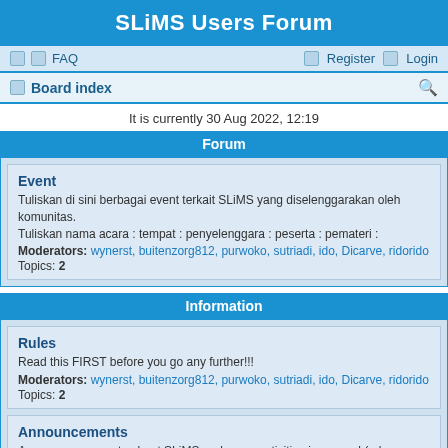SLiMS Users Forum
FAQ   Register   Login
Board index
It is currently 30 Aug 2022, 12:19
Forum
Event
Tuliskan di sini berbagai event terkait SLiMS yang diselenggarakan oleh komunitas.
Tuliskan nama acara : tempat : penyelenggara : peserta : pemateri :
Moderators: wynerst, buitenzorg812, purwoko, sutriadi, ido, Dicarve, ridorido
Topics: 2
Information
Rules
Read this FIRST before you go any further!!!
Moderators: wynerst, buitenzorg812, purwoko, sutriadi, ido, Dicarve, ridorido
Topics: 2
Announcements
Any announcements about SLiMS and users activities in general (release party, invitation, etc.)
Moderators: wynerst, buitenzorg812, purwoko, sutriadi, ido, Dicarve, ridorido
Topics: 13